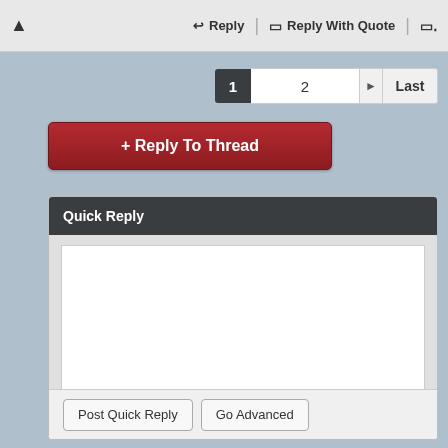[Figure (screenshot): Forum post toolbar with warning icon, Reply button, Reply With Quote button, and a quote icon on the right]
[Figure (screenshot): Pagination controls showing page 1 active (dark), page 2 input field, arrow, and Last button]
[Figure (screenshot): Red '+ Reply To Thread' button]
[Figure (screenshot): Quick Reply panel with dark header, white textarea input area, and footer with 'Post Quick Reply' and 'Go Advanced' buttons]